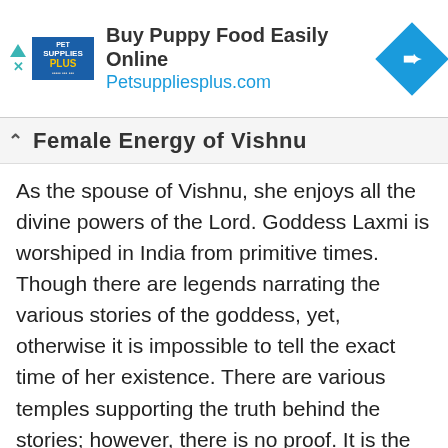[Figure (other): Advertisement banner for Pet Supplies Plus showing logo, headline 'Buy Puppy Food Easily Online', URL 'Petsuppliesplus.com', and a blue diamond navigation icon]
Female Energy of Vishnu
As the spouse of Vishnu, she enjoys all the divine powers of the Lord. Goddess Laxmi is worshiped in India from primitive times. Though there are legends narrating the various stories of the goddess, yet, otherwise it is impossible to tell the exact time of her existence. There are various temples supporting the truth behind the stories; however, there is no proof. It is the same with all gods and goddesses that exist in the world. They are a matter of belief. They exist for people, who believe in them and don't for those who